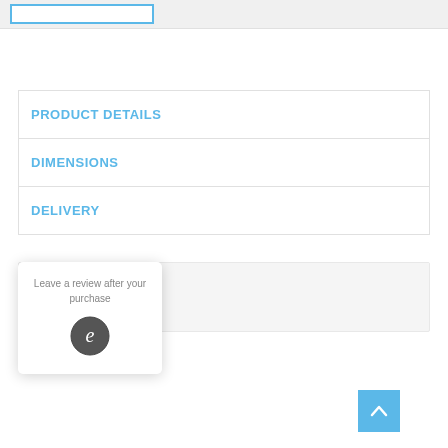[Figure (screenshot): Search input box with blue border at top of page]
PRODUCT DETAILS
DIMENSIONS
DELIVERY
Related Products
Leave a review after your purchase
[Figure (logo): Circular logo with letter e inside]
[Figure (other): Back to top button with upward chevron arrow, blue background]